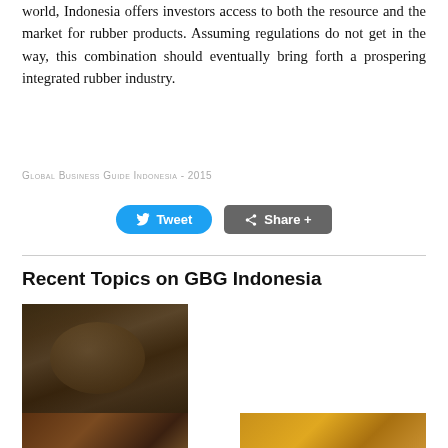world, Indonesia offers investors access to both the resource and the market for rubber products. Assuming regulations do not get in the way, this combination should eventually bring forth a prospering integrated rubber industry.
Global Business Guide Indonesia - 2015
[Figure (other): Tweet and Share+ social media buttons]
Recent Topics on GBG Indonesia
[Figure (photo): Close-up photo of green tea leaves on a wooden surface]
Indonesia's Tea Industry: Bitter Supply Amid Sweet Demand
[Figure (photo): Photo of cocoa/spices]
[Figure (photo): Photo of mango or yellow fruit]